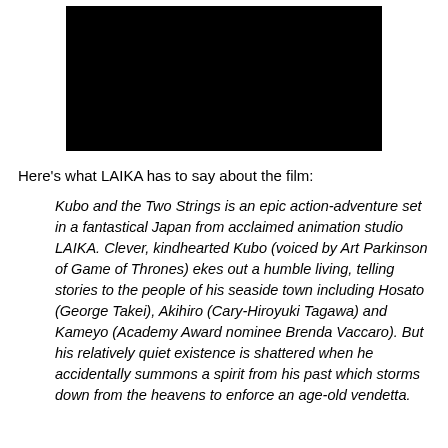[Figure (photo): Black rectangle image placeholder at top center of page]
Here's what LAIKA has to say about the film:
Kubo and the Two Strings is an epic action-adventure set in a fantastical Japan from acclaimed animation studio LAIKA. Clever, kindhearted Kubo (voiced by Art Parkinson of Game of Thrones) ekes out a humble living, telling stories to the people of his seaside town including Hosato (George Takei), Akihiro (Cary-Hiroyuki Tagawa) and Kameyo (Academy Award nominee Brenda Vaccaro). But his relatively quiet existence is shattered when he accidentally summons a spirit from his past which storms down from the heavens to enforce an age-old vendetta.